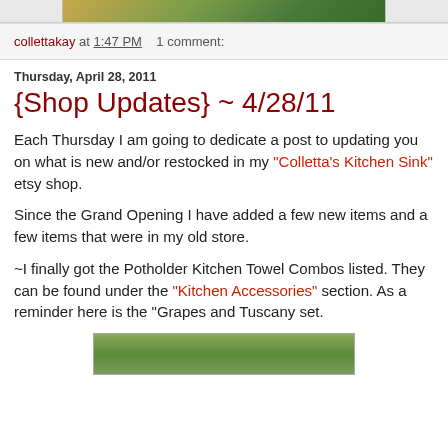[Figure (photo): Top cropped banner image showing colorful kitchen/garden themed graphics]
collettakay at 1:47 PM   1 comment:
Thursday, April 28, 2011
{Shop Updates} ~ 4/28/11
Each Thursday I am going to dedicate a post to updating you on what is new and/or restocked in my "Colletta's Kitchen Sink" etsy shop.
Since the Grand Opening I have added a few new items and a few items that were in my old store.
~I finally got the Potholder Kitchen Towel Combos listed. They can be found under the "Kitchen Accessories" section. As a reminder here is the "Grapes and Tuscany set.
[Figure (photo): Bottom image showing a green fabric item (potholder/kitchen towel) on a wooden surface]